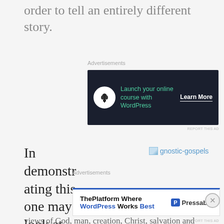order to tell an entirely different story.
[Figure (other): Advertisement banner: dark background with bonsai tree icon, text 'Launch your online course with WordPress', button 'Learn More']
In demonstrating this one may look at the Gnostic
[Figure (other): Broken image placeholder labeled 'gnostic-gospels']
views of God, man, creation, Christ, salvation and
[Figure (other): Advertisement banner: white background with blue top border, text 'ThePlatform Where WordPress Works Best', Pressable logo]